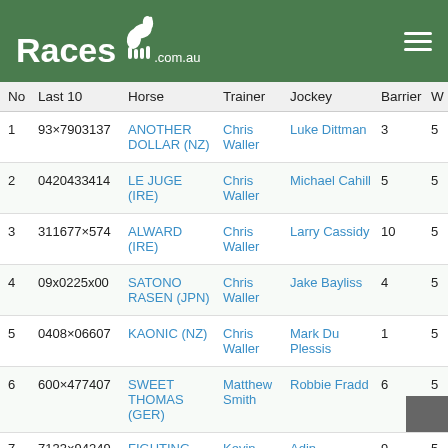Races.com.au
| No | Last 10 | Horse | Trainer | Jockey | Barrier | W |
| --- | --- | --- | --- | --- | --- | --- |
| 1 | 93×7903137 | ANOTHER DOLLAR (NZ) | Chris Waller | Luke Dittman | 3 | 5 |
| 2 | 0420433414 | LE JUGE (IRE) | Chris Waller | Michael Cahill | 5 | 5 |
| 3 | 311677×574 | ALWARD (IRE) | Chris Waller | Larry Cassidy | 10 | 5 |
| 4 | 09x0225x00 | SATONO RASEN (JPN) | Chris Waller | Jake Bayliss | 4 | 5 |
| 5 | 0408×06607 | KAONIC (NZ) | Chris Waller | Mark Du Plessis | 1 | 5 |
| 6 | 600×477407 | SWEET THOMAS (GER) | Matthew Smith | Robbie Fradd | 6 | 5 |
| 7 | 7133×94249 | FIGHTING | Kevin | Adin | 9 | 5 |